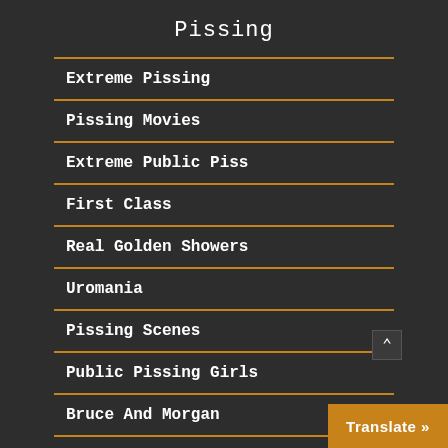Pissing
Extreme Pissing
Pissing Movies
Extreme Public Piss
First Class
Real Golden Showers
Uromania
Pissing Scenes
Public Pissing Girls
Bruce And Morgan
Translate »